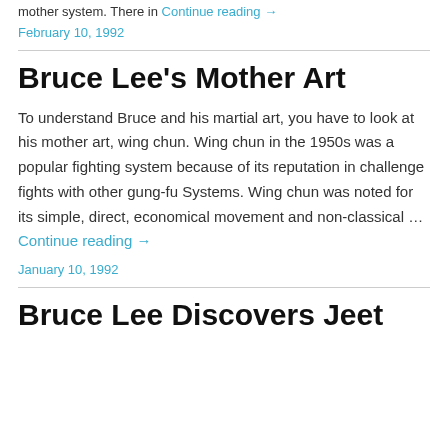mother system. There in Continue reading →
February 10, 1992
Bruce Lee's Mother Art
To understand Bruce and his martial art, you have to look at his mother art, wing chun. Wing chun in the 1950s was a popular fighting system because of its reputation in challenge fights with other gung-fu Systems. Wing chun was noted for its simple, direct, economical movement and non-classical … Continue reading →
January 10, 1992
Bruce Lee Discovers Jeet